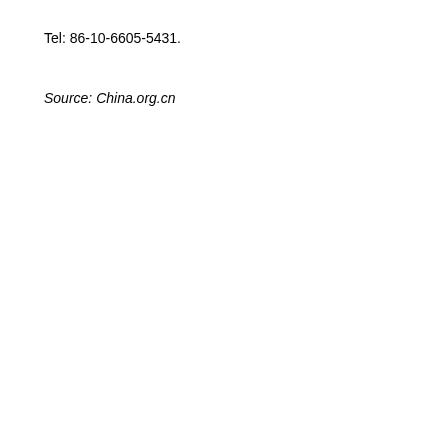Tel: 86-10-6605-5431.
Source: China.org.cn
[Figure (screenshot): A web form with a large text area (empty), and three buttons labeled Submit, Reset, and View. There is also a partial panel visible on the right side.]